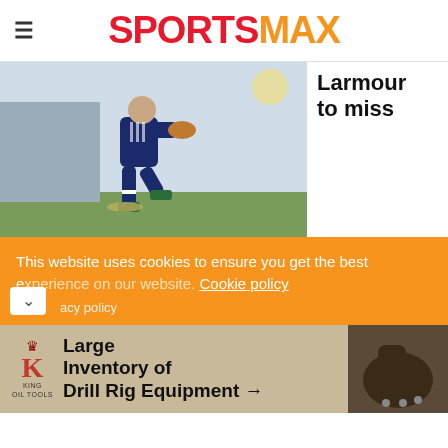SPORTSMAX
[Figure (photo): Rugby player in blue Leinster kit running with ball during training]
Larmour to miss
remainder of Ireland campaign
March 07, 2022
Jordan Larmour has been ruled out of the remainder of Ireland's
This website uses cookies to ensure you get the best experience on our website. Cookie policy
[Figure (photo): King Oil Tools advertisement: Large Inventory of Drill Rig Equipment]